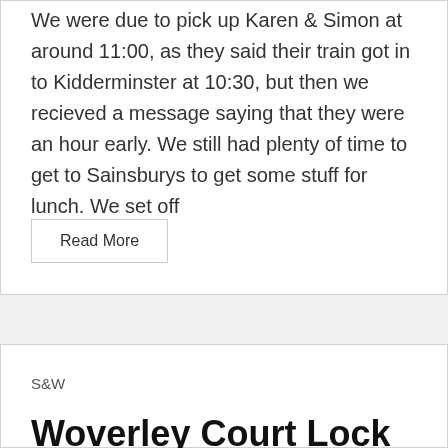We were due to pick up Karen & Simon at around 11:00, as they said their train got in to Kidderminster at 10:30, but then we recieved a message saying that they were an hour early. We still had plenty of time to get to Sainsburys to get some stuff for lunch. We set off
Read More
S&W
Woverley Court Lock